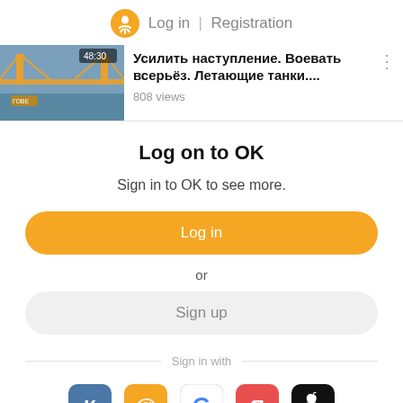Log in | Registration
[Figure (screenshot): Video thumbnail showing bridge/infrastructure over water with timestamp 48:30]
Усилить наступление. Воевать всерьёз. Летающие танки....
808 views
Log on to OK
Sign in to OK to see more.
Log in
or
Sign up
Sign in with
[Figure (infographic): Social login icons: VK (blue), Mail.ru (orange @), Google (G), Yandex (red Я), Apple (black apple)]